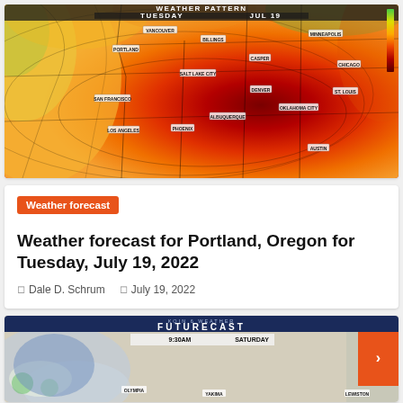[Figure (map): Weather heat map of the western United States showing high temperatures for Tuesday, July 19. Colors range from yellow/orange (Pacific coast) to deep red/maroon (interior southwest). Cities labeled include Vancouver, Portland, San Francisco, Los Angeles, Salt Lake City, Las Vegas, Phoenix, Billings, Casper, Denver, Albuquerque, Minneapolis, Chicago, St. Louis, Oklahoma City, Austin.]
Weather forecast
Weather forecast for Portland, Oregon for Tuesday, July 19, 2022
Dale D. Schrum   July 19, 2022
[Figure (screenshot): KOIN 6 Weather Futurecast screenshot showing 9:30AM Saturday forecast map with cities Olympia, Yakima, and Lewiston visible. Orange button with arrow on right side.]